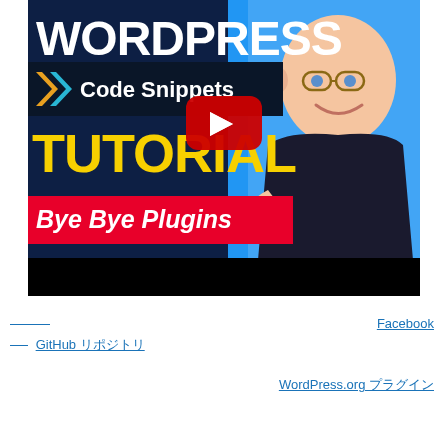[Figure (screenshot): YouTube video thumbnail for a WordPress Code Snippets Tutorial. Dark blue background with 'WORDPRESS' in white text at top, a dark banner reading 'Code Snippets' with chevron logo, 'TUTORIAL' in large yellow text, a red banner reading 'Bye Bye Plugins' in italic white text, a YouTube play button overlay in center, a smiling man with glasses on the right side against a blue background, and a black bar at the bottom.]
Facebook
GitHub リポジトリ
WordPress.org プラグイン